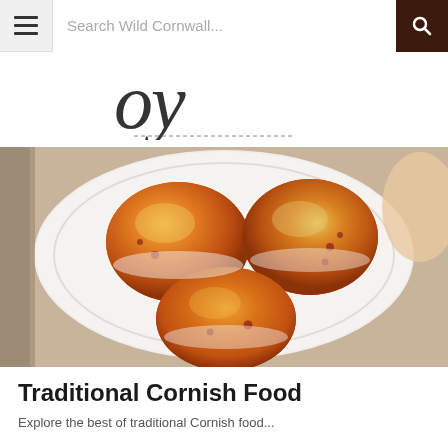Search Wild Cornwall...
[Figure (illustration): Partial script/calligraphic logo text for Wild Cornwall website, showing cursive letters partially visible]
[Figure (photo): Three golden-brown baked Cornish scones arranged on a white decorative plate, photographed close-up from above]
Traditional Cornish Food
Explore the best of traditional Cornish food...